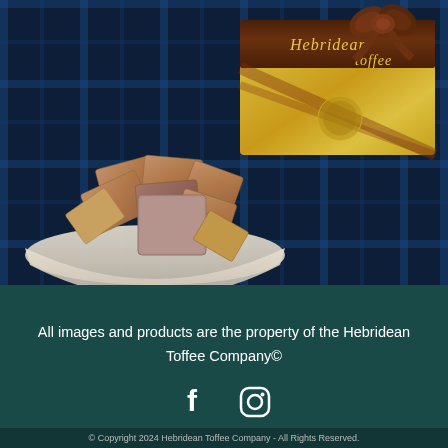[Figure (photo): A bowl of Hebridean toffee pieces in front of a gold gift box with brown ribbon and bow, on a blue tartan background]
All images and products are the property of the Hebridean Toffee Company©
[Figure (infographic): Facebook and Instagram social media icons (white)]
© Copyright 2024 Hebridean Toffee Company - All Rights Reserved.